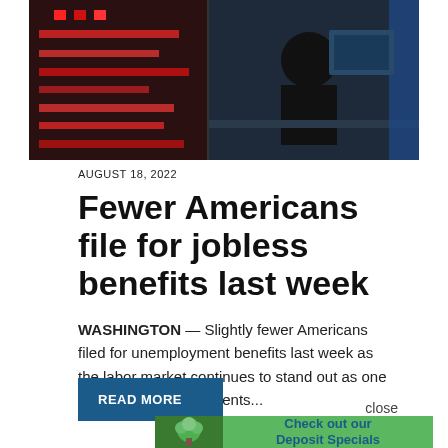[Figure (photo): Stock market or trading floor scene with red ticker boards and people in background]
AUGUST 18, 2022
Fewer Americans file for jobless benefits last week
WASHINGTON — Slightly fewer Americans filed for unemployment benefits last week as the labor market continues to stand out as one of the strongest segments...
READ MORE
close
[Figure (illustration): Advertisement banner: tree illustration on green background with text 'Check out our Deposit Specials']